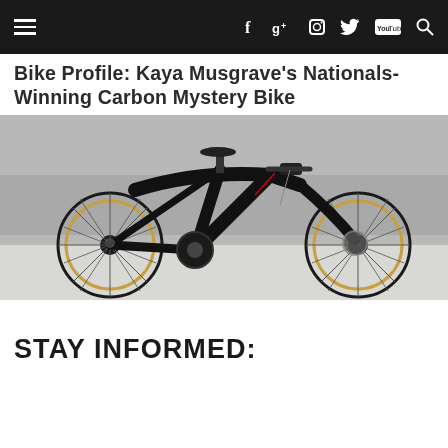Navigation bar with menu, social icons (Facebook, Google+, Instagram, Twitter, YouTube), and search
Bike Profile: Kaya Musgrave's Nationals-Winning Carbon Mystery Bike
[Figure (photo): Side view of a black carbon cyclocross/mountain bike with disc brakes and golden-rimmed wheels on a snowy/icy ground, with blurred crowd in background]
STAY INFORMED: